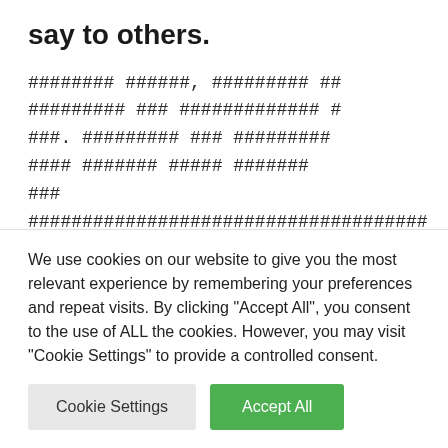say to others.
######## ######, ######### ## ######### ### ############# # ###. ######### ### ######### #### ####### ##### ####### ###
##################################### ##. ######,
We use cookies on our website to give you the most relevant experience by remembering your preferences and repeat visits. By clicking “Accept All”, you consent to the use of ALL the cookies. However, you may visit "Cookie Settings" to provide a controlled consent.